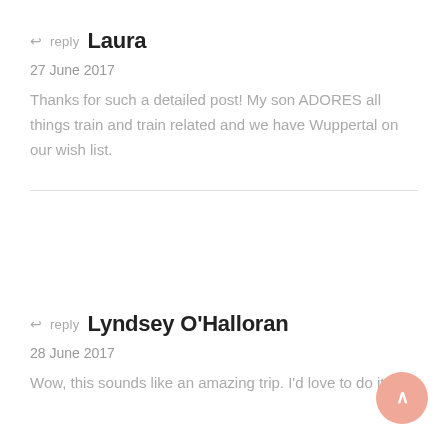↩ reply  Laura
27 June 2017
Thanks for such a detailed post! My son ADORES all things train and train related and we have Wuppertal on our wish list.
↩ reply  Lyndsey O'Halloran
28 June 2017
Wow, this sounds like an amazing trip. I'd love to do it.